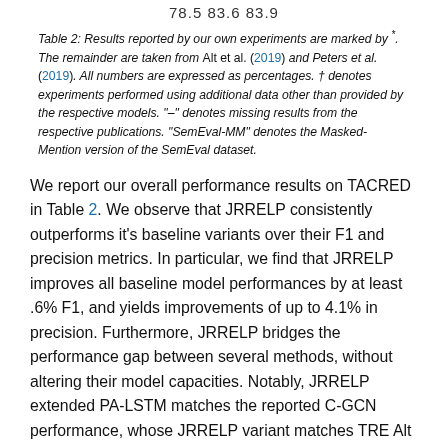78.5 83.6 83.9
Table 2: Results reported by our own experiments are marked by *. The remainder are taken from Alt et al. (2019) and Peters et al. (2019). All numbers are expressed as percentages. † denotes experiments performed using additional data other than provided by the respective models. "–" denotes missing results from the respective publications. "SemEval-MM" denotes the Masked-Mention version of the SemEval dataset.
We report our overall performance results on TACRED in Table 2. We observe that JRRELP consistently outperforms it's baseline variants over their F1 and precision metrics. In particular, we find that JRRELP improves all baseline model performances by at least .6% F1, and yields improvements of up to 4.1% in precision. Furthermore, JRRELP bridges the performance gap between several methods, without altering their model capacities. Notably, JRRELP extended PA-LSTM matches the reported C-GCN performance, whose JRRELP variant matches TRE Alt et al. (2019) — a significantly more expressive transformer-based approach. These results suggest that the true performance ceiling of reported relation extraction approaches may be significantly higher than their reported